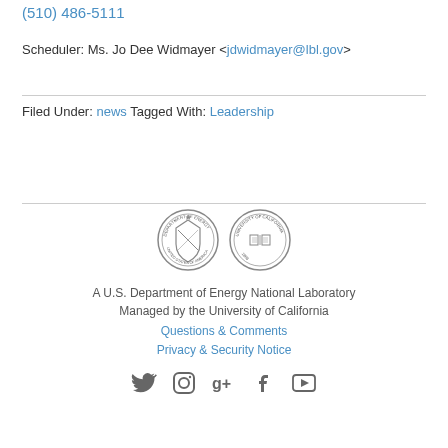(510) 486-5111
Scheduler: Ms. Jo Dee Widmayer <jdwidmayer@lbl.gov>
Filed Under: news Tagged With: Leadership
[Figure (logo): Two circular seals: U.S. Department of Energy seal and University of California seal]
A U.S. Department of Energy National Laboratory
Managed by the University of California
Questions & Comments
Privacy & Security Notice
[Figure (infographic): Social media icons: Twitter, Instagram, Google+, Facebook, YouTube]